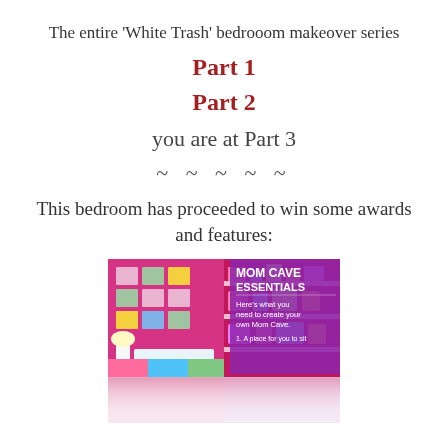The entire ‘White Trash’ bedrooom makeover series
Part 1
Part 2
you are at Part 3
~ ~ ~ ~ ~
This bedroom has proceeded to win some awards and features:
[Figure (illustration): Mom Cave Essentials promotional image showing a bright pink bedroom with shelves and the text 'MOM CAVE ESSENTIALS - Here’s what you need to create your own Mom Cave. 1. A place for you to sit']